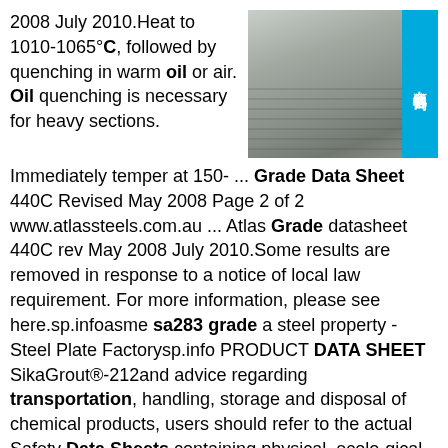2008 July 2010.Heat to 1010-1065°C, followed by quenching in warm oil or air. Oil quenching is necessary for heavy sections.
[Figure (photo): Photo of stacked steel plates, gray metallic color, showing layered edges.]
Immediately temper at 150- ... Grade Data Sheet 440C Revised May 2008 Page 2 of 2 www.atlassteels.com.au ... Atlas Grade datasheet 440C rev May 2008 July 2010.Some results are removed in response to a notice of local law requirement. For more information, please see here.sp.infoasme sa283 grade a steel property - Steel Plate Factorysp.info PRODUCT DATA SHEET SikaGrout®-212and advice regarding transportation, handling, storage and disposal of chemical products, users should refer to the actual Safety Data Sheets containing physical, ecolo-gical, toxicological and other safety related data. Read the current actual Safety Data Sheet before using the product. In case of emergency, call CHEMTREC at 1-800-